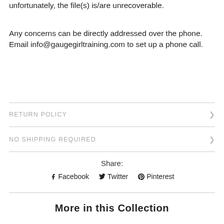unfortunately, the file(s) is/are unrecoverable.
Any concerns can be directly addressed over the phone. Email info@gaugegirltraining.com to set up a phone call.
RETURN POLICY
NO SHIPPING REQUIRED
Share:
Facebook   Twitter   Pinterest
More in this Collection